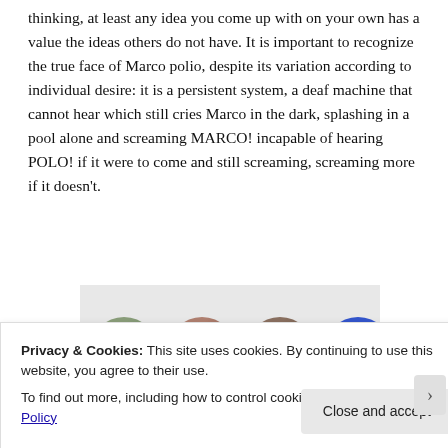thinking, at least any idea you come up with on your own has a value the ideas others do not have. It is important to recognize the true face of Marco polio, despite its variation according to individual desire: it is a persistent system, a deaf machine that cannot hear which still cries Marco in the dark, splashing in a pool alone and screaming MARCO! incapable of hearing POLO! if it were to come and still screaming, screaming more if it doesn't.
[Figure (photo): A row of four circular avatar images of people against a light grey background, with the fourth being a blue circle with a plus icon.]
Privacy & Cookies: This site uses cookies. By continuing to use this website, you agree to their use.
To find out more, including how to control cookies, see here: Cookie Policy
Close and accept